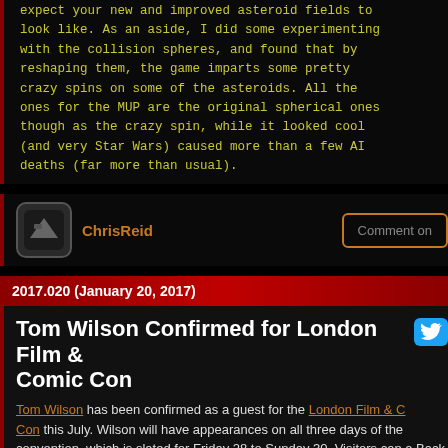expect your new and improved asteroid fields to look like. As an aside, I did some experimenting with the collision spheres, and found that by reshaping them, the game imparts some pretty crazy spins on some of the asteroids. All the ones for the MUP are the original spherical ones though as the crazy spin, while it looked cool (and very Star Wars) caused more than a few AI deaths (far more than usual).
ChrisReid
Comment on
2017.020 (January 20, 2017)
Tom Wilson Confirmed for London Film & Comic Con
Tom Wilson has been confirmed as a guest for the London Film & Comic Con this July. Wilson will have appearances on all three days of the convention, which is slated for Friday 28 to Sunday 30. Visitors can a Back to the Future talk, and there will be various photo and autograph opportunities. A diamond convention pass guarantees the most inter